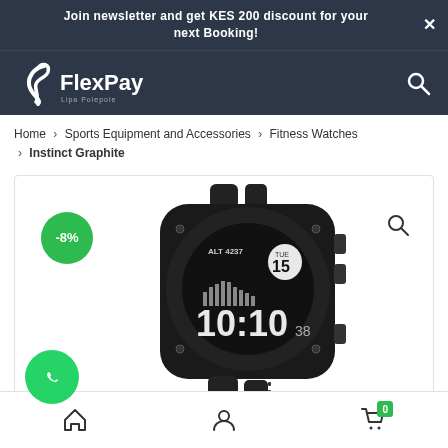Join newsletter and get KES 200 discount for your next Booking!
[Figure (logo): FlexPay logo on dark header navigation bar]
Home > Sports Equipment and Accessories > Fitness Watches > Instinct Graphite
[Figure (photo): Garmin Instinct Graphite smartwatch product photo with -8% discount badge]